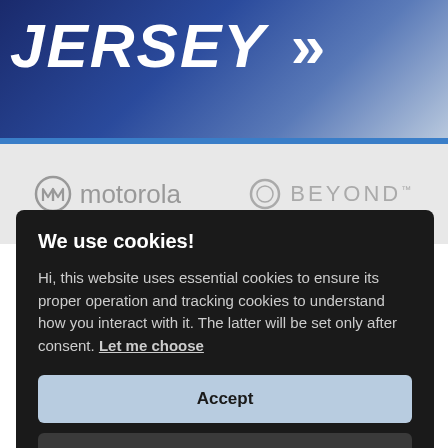[Figure (photo): Top banner showing 'JERSEY >' text in bold italic white on a blue gradient background]
[Figure (logo): Motorola logo (circle M icon) and text 'motorola' in gray, on light gray background]
[Figure (logo): Beyond logo (circle O icon) and text 'BEYOND' in gray, on light gray background]
We use cookies!
Hi, this website uses essential cookies to ensure its proper operation and tracking cookies to understand how you interact with it. The latter will be set only after consent. Let me choose
Accept
Reject